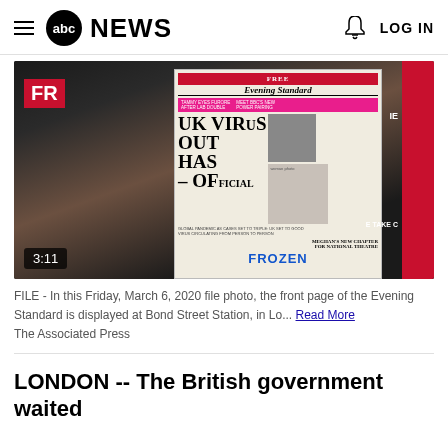abc NEWS  LOG IN
[Figure (photo): Newspaper stand showing Evening Standard front page with headline 'UK VIRUS OUT HAS – OFFICIAL', displayed at Bond Street Station. Video duration shown as 3:11.]
FILE - In this Friday, March 6, 2020 file photo, the front page of the Evening Standard is displayed at Bond Street Station, in Lo... Read More
The Associated Press
LONDON -- The British government waited